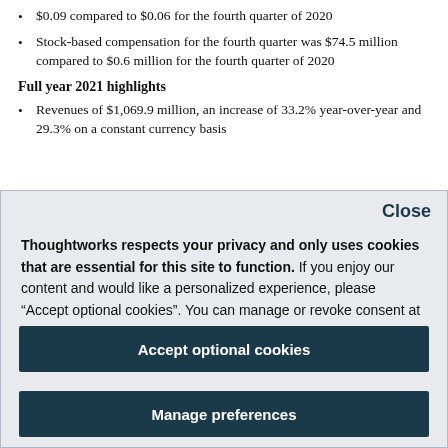$0.09 compared to $0.06 for the fourth quarter of 2020
Stock-based compensation for the fourth quarter was $74.5 million compared to $0.6 million for the fourth quarter of 2020
Full year 2021 highlights
Revenues of $1,069.9 million, an increase of 33.2% year-over-year and 29.3% on a constant currency basis
Close
Thoughtworks respects your privacy and only uses cookies that are essential for this site to function. If you enjoy our content and would like a personalized experience, please “Accept optional cookies”. You can manage or revoke consent at any time. Privacy policy
Accept optional cookies
Manage preferences